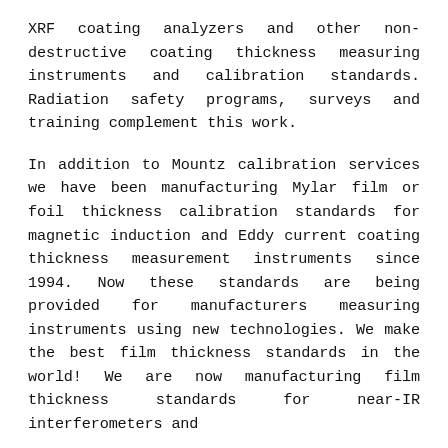XRF coating analyzers and other non-destructive coating thickness measuring instruments and calibration standards. Radiation safety programs, surveys and training complement this work.
In addition to Mountz calibration services we have been manufacturing Mylar film or foil thickness calibration standards for magnetic induction and Eddy current coating thickness measurement instruments since 1994. Now these standards are being provided for manufacturers measuring instruments using new technologies. We make the best film thickness standards in the world! We are now manufacturing film thickness standards for near-IR interferometers and